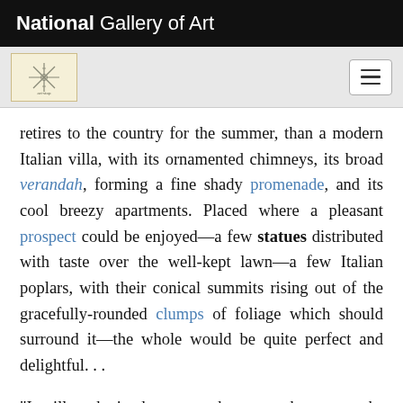National Gallery of Art
[Figure (logo): National Gallery of Art logo — snowflake/asterisk design on cream background]
retires to the country for the summer, than a modern Italian villa, with its ornamented chimneys, its broad verandah, forming a fine shady promenade, and its cool breezy apartments. Placed where a pleasant prospect could be enjoyed—a few statues distributed with taste over the well-kept lawn—a few Italian poplars, with their conical summits rising out of the gracefully-rounded clumps of foliage which should surround it—the whole would be quite perfect and delightful. . .

"It will not be inadvertent to the present hasty remarks to hint at the additional charm which may